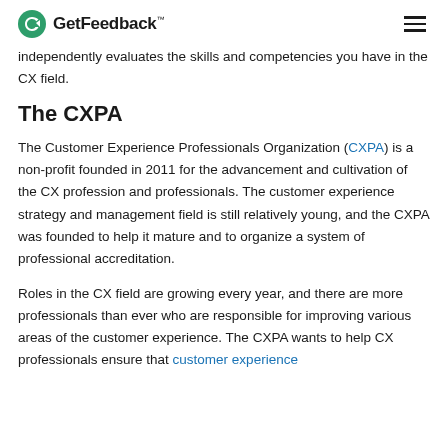GetFeedback™
independently evaluates the skills and competencies you have in the CX field.
The CXPA
The Customer Experience Professionals Organization (CXPA) is a non-profit founded in 2011 for the advancement and cultivation of the CX profession and professionals. The customer experience strategy and management field is still relatively young, and the CXPA was founded to help it mature and to organize a system of professional accreditation.
Roles in the CX field are growing every year, and there are more professionals than ever who are responsible for improving various areas of the customer experience. The CXPA wants to help CX professionals ensure that customer experience